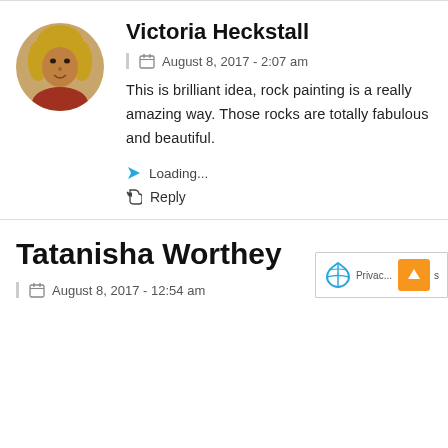[Figure (photo): Circular avatar photo of Victoria Heckstall, a woman with blonde hair]
Victoria Heckstall
August 8, 2017 - 2:07 am
This is brilliant idea, rock painting is a really amazing way. Those rocks are totally fabulous and beautiful.
Loading...
Reply
Tatanisha Worthey
August 8, 2017 - 12:54 am